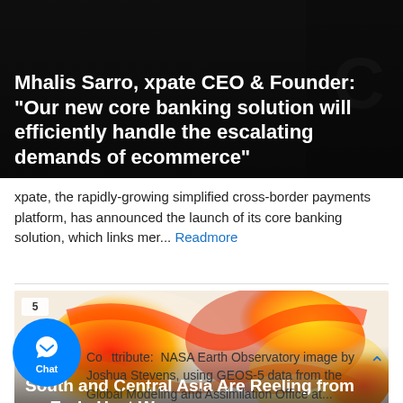[Figure (photo): Dark background image with bold white quote text overlay: 'Mhalis Sarro, xpate CEO & Founder: Our new core banking solution will efficiently handle the escalating demands of ecommerce"']
xpate, the rapidly-growing simplified cross-border payments platform, has announced the launch of its core banking solution, which links mer... Readmore
[Figure (photo): NASA heat map image of South and Central Asia showing heat wave in vivid red, orange, and yellow tones. Badge showing number 5. Title overlay: 'South and Central Asia Are Reeling from an Early Heat Wave']
Co[Image: Chat button]ttribute: NASA Earth Observatory image by Joshua Stevens, using GEOS-5 data from the Global Modeling and Assimilation Office... Readmore